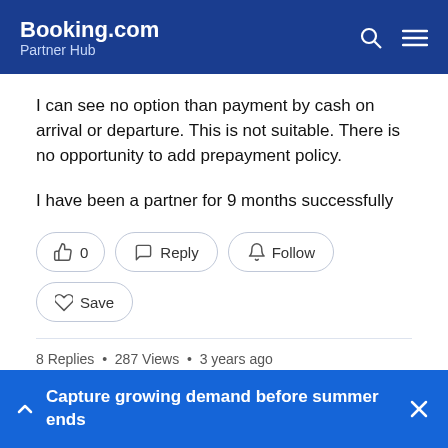Booking.com Partner Hub
I can see no option than payment by cash on arrival or departure. This is not suitable. There is no opportunity to add prepayment policy.

I have been a partner for 9 months successfully
👍 0   Reply   Follow   Save
8 Replies • 287 Views • 3 years ago
Capture growing demand before summer ends